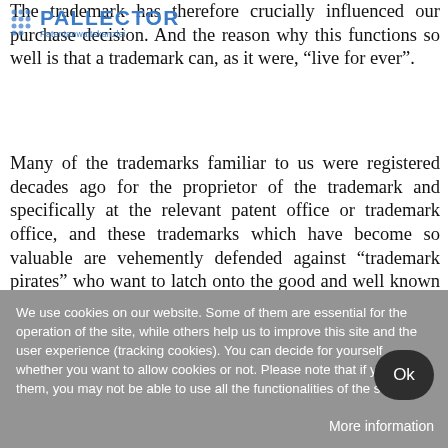PALLECTOR Patentanwaltskanzlei
The trademark has therefore crucially influenced our purchase decision. And the reason why this functions so well is that a trademark can, as it were, “live for ever”.
Many of the trademarks familiar to us were registered decades ago for the proprietor of the trademark and specifically at the relevant patent office or trademark office, and these trademarks which have become so valuable are vehemently defended against “trademark pirates” who want to latch onto the good and well known reputation of the trademark.
We use cookies on our website. Some of them are essential for the operation of the site, while others help us to improve this site and the user experience (tracking cookies). You can decide for yourself whether you want to allow cookies or not. Please note that if you reject them, you may not be able to use all the functionalities of the site.
Ok
More information